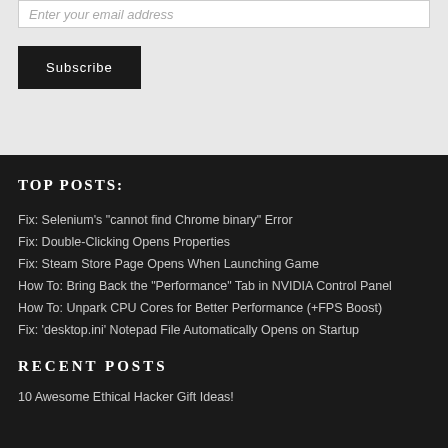Enter your email address
Subscribe
TOP POSTS:
Fix: Selenium's "cannot find Chrome binary" Error
Fix: Double-Clicking Opens Properties
Fix: Steam Store Page Opens When Launching Game
How To: Bring Back the "Performance" Tab in NVIDIA Control Panel
How To: Unpark CPU Cores for Better Performance (+FPS Boost)
Fix: 'desktop.ini' Notepad File Automatically Opens on Startup
RECENT POSTS
10 Awesome Ethical Hacker Gift Ideas!